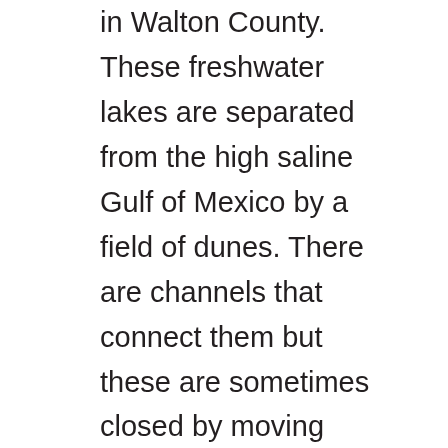in Walton County. These freshwater lakes are separated from the high saline Gulf of Mexico by a field of dunes. There are channels that connect them but these are sometimes closed by moving sand. When open, these channels allow the brown tannic waters of the lakes to spill into the Gulf – a weird sight which trigger thoughts of pollution. You can see evidence of high tides entering the lakes with the presence of cordgrass and needlerush (classic salt marsh plants) and species of marine fish such as stingray and redfish. There is access to some of the dune lakes via the state parks. Here there are trails along the shore and through the dunes, and kayaks to rent. The gulf is not but a few feet away – this is a great place to bring